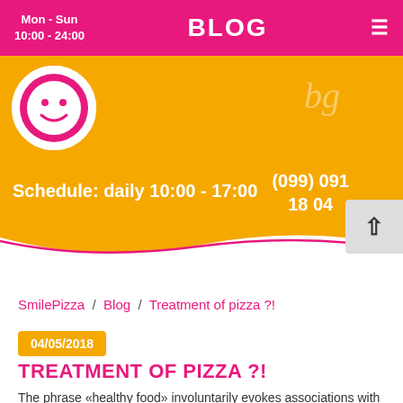Mon - Sun 10:00 - 24:00 | BLOG
[Figure (screenshot): Yellow hero banner with pizza logo, schedule text 'Schedule: daily 10:00 - 17:00' and phone number '(099) 091 18 04', pink wave at bottom]
SmilePizza / Blog / Treatment of pizza ?!
04/05/2018
TREATMENT OF PIZZA ?!
The phrase «healthy food» involuntarily evokes associations with tasteless cereals, lean vegetables. But the right diet consists of much more products.